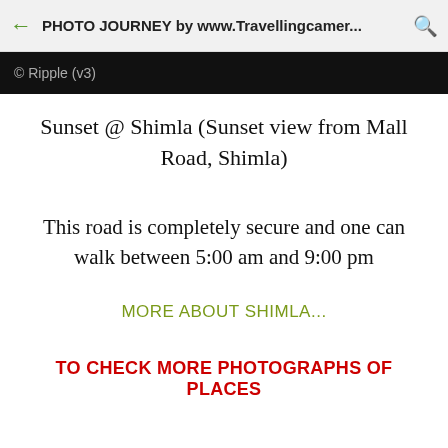PHOTO JOURNEY by www.Travellingcamer...
[Figure (screenshot): Black strip with partial text '© Ripple (v3)']
Sunset @ Shimla (Sunset view from Mall Road, Shimla)
This road is completely secure and one can walk between 5:00 am and 9:00 pm
MORE ABOUT SHIMLA...
TO CHECK MORE PHOTOGRAPHS OF PLACES